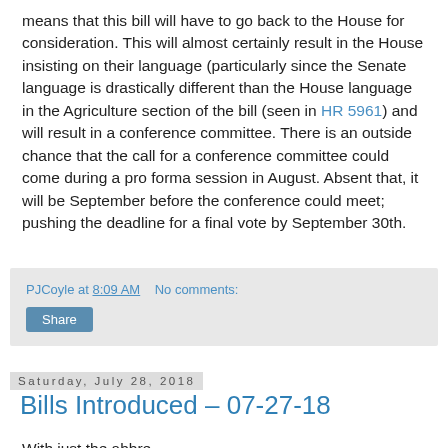means that this bill will have to go back to the House for consideration. This will almost certainly result in the House insisting on their language (particularly since the Senate language is drastically different than the House language in the Agriculture section of the bill (seen in HR 5961) and will result in a conference committee. There is an outside chance that the call for a conference committee could come during a pro forma session in August. Absent that, it will be September before the conference could meet; pushing the deadline for a final vote by September 30th.
PJCoyle at 8:09 AM    No comments:
Share
Saturday, July 28, 2018
Bills Introduced – 07-27-18
With just the abbreviation section of comments, post-summary...